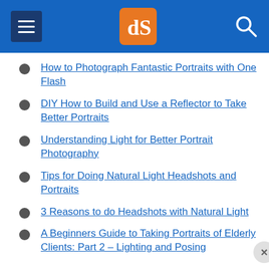dPS navigation header
How to Photograph Fantastic Portraits with One Flash
DIY How to Build and Use a Reflector to Take Better Portraits
Understanding Light for Better Portrait Photography
Tips for Doing Natural Light Headshots and Portraits
3 Reasons to do Headshots with Natural Light
A Beginners Guide to Taking Portraits of Elderly Clients: Part 2 – Lighting and Posing